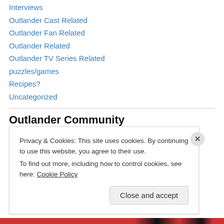Interviews
Outlander Cast Related
Outlander Fan Related
Outlander Related
Outlander TV Series Related
puzzles/games
Recipes?
Uncategorized
Outlander Community
Diana Gabaldon
Ladies of Lallybroch
Privacy & Cookies: This site uses cookies. By continuing to use this website, you agree to their use.
To find out more, including how to control cookies, see here: Cookie Policy
Close and accept